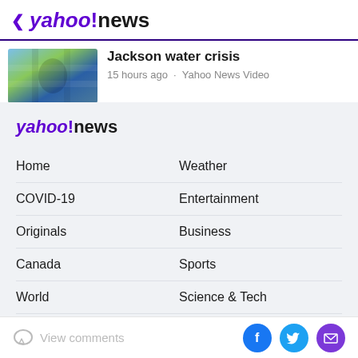< yahoo!news
[Figure (photo): Thumbnail image of water bottles, related to Jackson water crisis story]
Jackson water crisis
15 hours ago · Yahoo News Video
[Figure (logo): Yahoo News logo in footer section]
Home
Weather
COVID-19
Entertainment
Originals
Business
Canada
Sports
World
Science & Tech
View comments